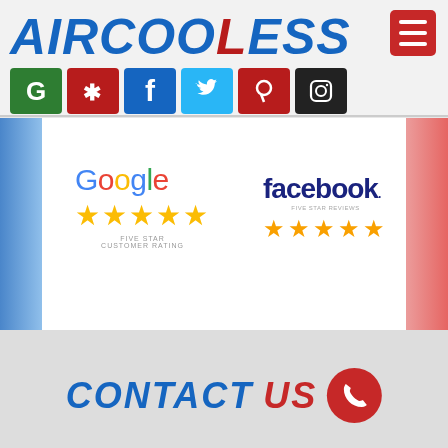[Figure (logo): AIRCOOLESS logo in blue and red italic bold text with hamburger menu icon]
[Figure (infographic): Social media icons row: Google (green), Yelp (red), Facebook (blue), Twitter (light blue), Pinterest (red), Instagram (black)]
[Figure (infographic): Review ratings section: Google five star customer rating on left, Facebook five star rating on right, with blue and red gradient side panels]
[Figure (infographic): CONTACT US text in blue italic bold with red US and a red phone circle icon]